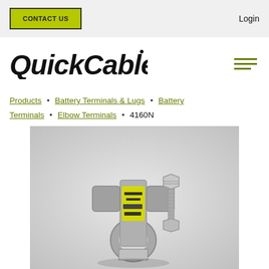CONTACT US | Login
[Figure (logo): QuickCable logo - stylized bold italic text]
Products • Battery Terminals & Lugs • Battery Terminals • Elbow Terminals • 4160N
[Figure (photo): Photo of a QuickCable elbow battery terminal connector (model 4160N) - metal clamp with yellow label sticker and bolt, on white/grey background]